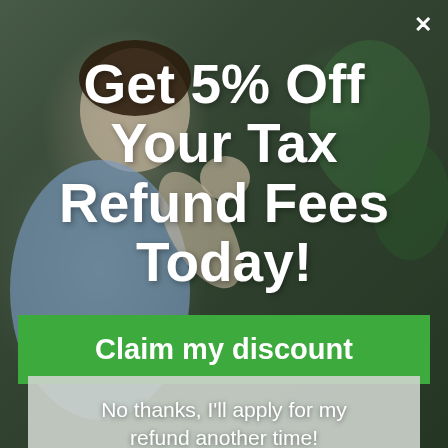[Figure (photo): Background photo of a man celebrating, fist pump gesture, sitting at a desk, blurred background with plants and office setting.]
Get 5% Off Your Tax Refund Fees Today!
Claim my discount
No thanks, I'll apply for my refund another time!